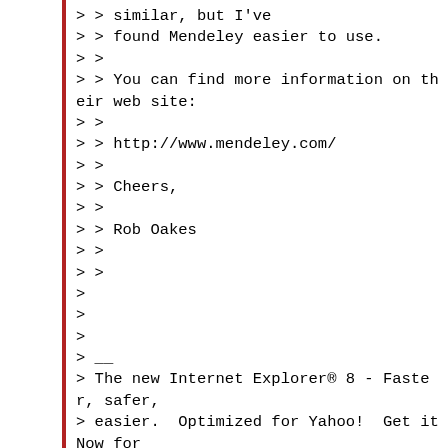> > similar, but I've
> > found Mendeley easier to use.
> >
> > You can find more information on their web site:
> >
> > http://www.mendeley.com/
> >
> > Cheers,
> >
> > Rob Oakes
> >
> >
>
>
>
> __
> The new Internet Explorer® 8 - Faster, safer,
> easier.  Optimized for Yahoo!  Get it Now for
> Free! at
http://downloads.yahoo.com/ca/internetexplore